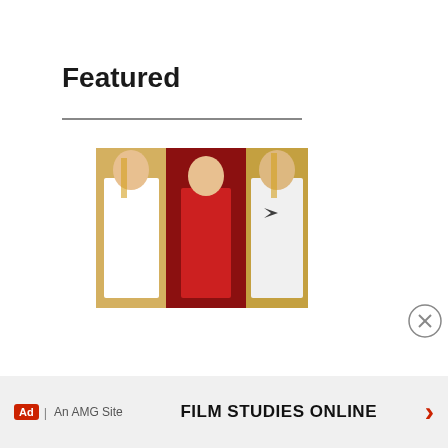Featured
[Figure (photo): Photo of two celebrities on a red carpet, one in a red dress and one in a white tuxedo]
Moon Bumps and Real Dolls: The Celebrity Fake Baby Conspiracy That's Taken Over
[Figure (infographic): Advertisement banner: FILM STUDIES ONLINE with Ad badge and AMG Site label and right arrow]